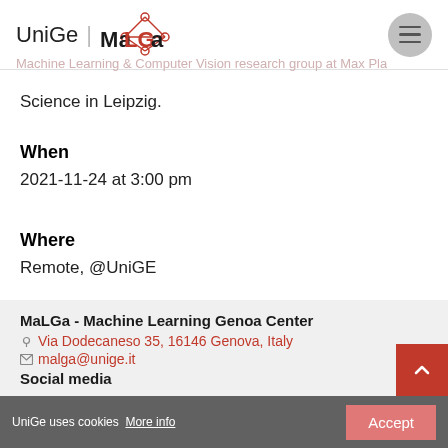UniGe | MaLGa
Science in Leipzig.
When
2021-11-24 at 3:00 pm
Where
Remote, @UniGE
MaLGa - Machine Learning Genoa Center
Via Dodecaneso 35, 16146 Genova, Italy
malga@unige.it
Social media
UniGe uses cookies More info